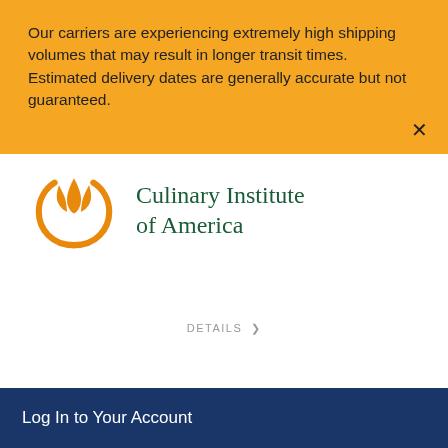Our carriers are experiencing extremely high shipping volumes that may result in longer transit times. Estimated delivery dates are generally accurate but not guaranteed.
[Figure (logo): Culinary Institute of America logo — orange flame/wheat symbol with circular base, next to teal serif text 'Culinary Institute of America']
DETAILS >
Log In to Your Account